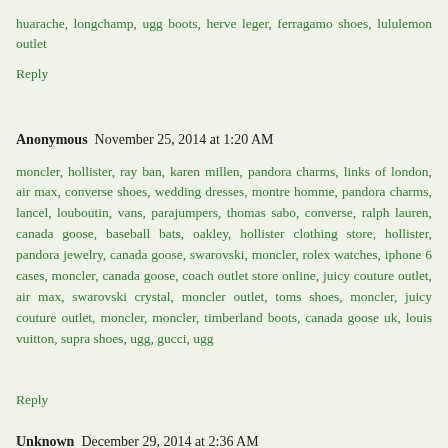huarache, longchamp, ugg boots, herve leger, ferragamo shoes, lululemon outlet
Reply
Anonymous  November 25, 2014 at 1:20 AM
moncler, hollister, ray ban, karen millen, pandora charms, links of london, air max, converse shoes, wedding dresses, montre homme, pandora charms, lancel, louboutin, vans, parajumpers, thomas sabo, converse, ralph lauren, canada goose, baseball bats, oakley, hollister clothing store, hollister, pandora jewelry, canada goose, swarovski, moncler, rolex watches, iphone 6 cases, moncler, canada goose, coach outlet store online, juicy couture outlet, air max, swarovski crystal, moncler outlet, toms shoes, moncler, juicy couture outlet, moncler, moncler, timberland boots, canada goose uk, louis vuitton, supra shoes, ugg, gucci, ugg
Reply
Unknown  December 29, 2014 at 2:36 AM